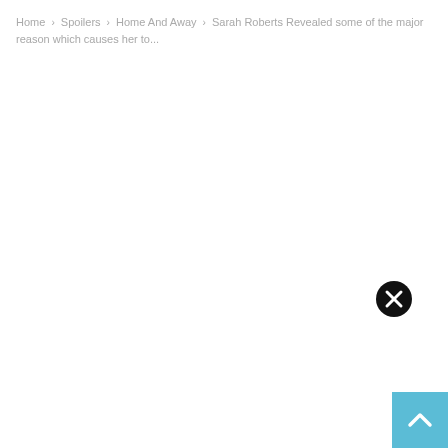Home › Spoilers › Home And Away › Sarah Roberts Revealed some of the major reason which causes her to...
[Figure (screenshot): A close button (black circle with white X) in the lower right area of the page]
[Figure (screenshot): A light blue scroll-to-top button with a white upward chevron arrow in the bottom right corner]